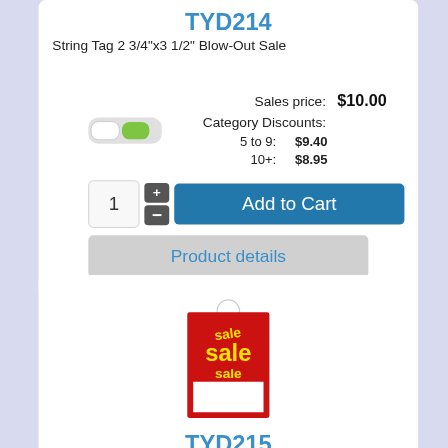TYD214
String Tag 2 3/4"x3 1/2" Blow-Out Sale
Sales price: $10.00
Category Discounts:
5 to 9: $9.40
10+: $8.95
[Figure (screenshot): Add to Cart button with quantity selector (1) and +/- controls]
Product details
[Figure (illustration): Sale tag product image showing red tag with 'sale sale sale' text]
TYD215